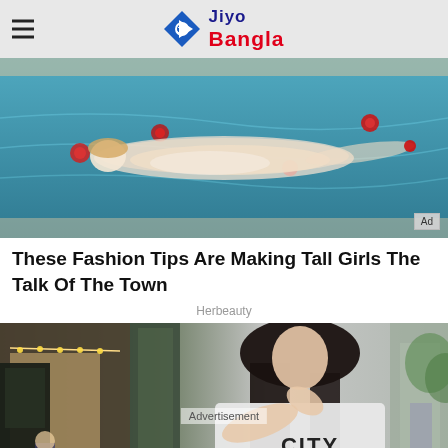Jiyo Bangla
[Figure (photo): Woman floating in a pool with red flowers, advertisement image]
These Fashion Tips Are Making Tall Girls The Talk Of The Town
Herbeauty
[Figure (photo): Woman with long dark hair wearing a white 'City Of' sweatshirt, standing outside a cafe, holding a coffee cup. Text overlay reads 'Advertisement'.]